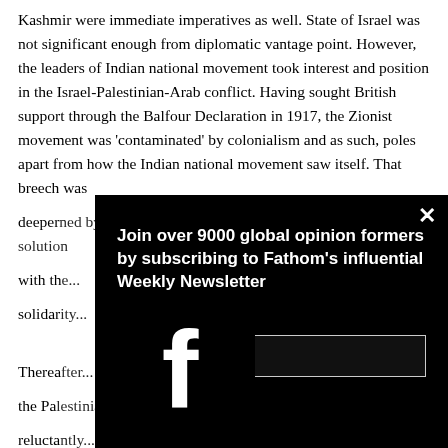Kashmir were immediate imperatives as well. State of Israel was not significant enough from diplomatic vantage point. However, the leaders of Indian national movement took interest and position in the Israel-Palestinian-Arab conflict. Having sought British support through the Balfour Declaration in 1917, the Zionist movement was 'contaminated' by colonialism and as such, poles apart from how the Indian national movement saw itself. That breech was deeper... with th... solidar...
[Figure (screenshot): A modal popup overlay on a dark black background showing a newsletter subscription prompt. Left side shows a large Facebook 'f' logo in white. Right side shows text 'Join over 9000 global opinion formers by subscribing to Fathom's influential Weekly Newsletter' with an Email Address field below. An X close button appears in the top right corner.]
Therea... the Pa... relucta... concor... first pr... Europe... people... friends...